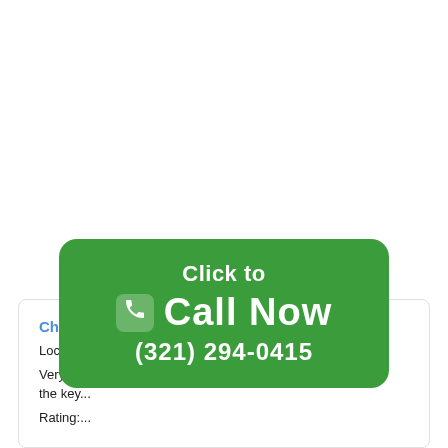Champi...
Location...
Very fr... ake the key...
Rating:...
[Figure (infographic): Green rounded rectangle call-to-action button overlay with phone icon, text 'Click to Call Now (321) 294-0415']